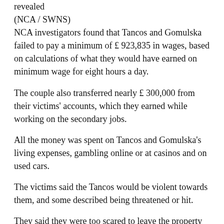revealed
(NCA / SWNS)
NCA investigators found that Tancos and Gomulska failed to pay a minimum of £ 923,835 in wages, based on calculations of what they would have earned on minimum wage for eight hours a day.
The couple also transferred nearly £ 300,000 from their victims' accounts, which they earned while working on the secondary jobs.
All the money was spent on Tancos and Gomulska's living expenses, gambling online or at casinos and on used cars.
The victims said the Tancos would be violent towards them, and some described being threatened or hit.
They said they were too scared to leave the property and on many occasions were locked inside.
The Danish Criminal Agency (NCA) officers started an investigation in 2017 and later found Tancos and Gomulska...